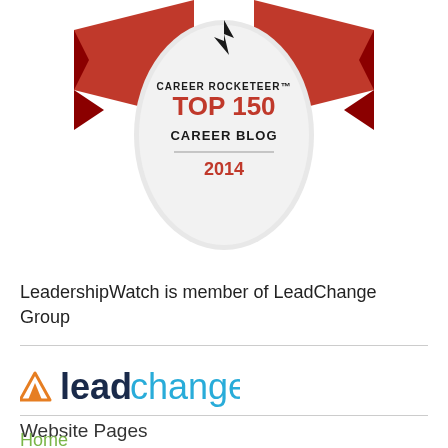[Figure (logo): Career Rocketeer Top 150 Career Blog 2014 badge/award logo with red ribbon banner and shield design]
LeadershipWatch is member of LeadChange Group
[Figure (logo): LeadChange logo with orange triangle icon and 'leadchange' text in navy and cyan]
Website Pages
Home